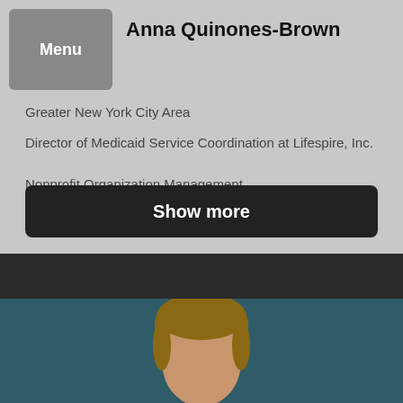Anna Quinones-Brown
Greater New York City Area
Director of Medicaid Service Coordination at Lifespire, Inc.
Nonprofit Organization Management
Show more
[Figure (photo): Profile photo of a person with light brown hair pulled back, against a dark teal background]